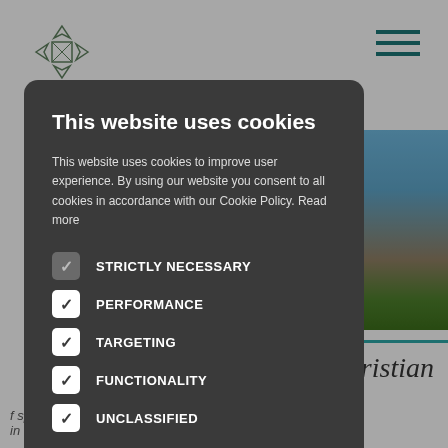[Figure (screenshot): Website background with logo, hamburger menu, photo of stone ruins against blue sky, teal line, partial heading 'ristian', and partial text 'f spirituality in the Christian tradition up to ...']
This website uses cookies
This website uses cookies to improve user experience. By using our website you consent to all cookies in accordance with our Cookie Policy. Read more
STRICTLY NECESSARY
PERFORMANCE
TARGETING
FUNCTIONALITY
UNCLASSIFIED
ACCEPT ALL
DECLINE ALL
SHOW DETAILS